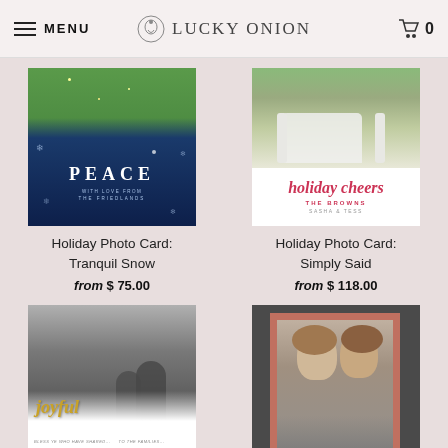MENU | LUCKY ONION | 0
[Figure (photo): Holiday Photo Card: Tranquil Snow — dark blue card with PEACE text and snowflakes, green photo top portion]
Holiday Photo Card:
Tranquil Snow
from $ 75.00
[Figure (photo): Holiday Photo Card: Simply Said — photo of family on white chair outdoors, white bottom with 'holiday cheers THE BROWNS SASHA & TESS' in pink/red]
Holiday Photo Card:
Simply Said
from $ 118.00
[Figure (photo): Holiday Photo Card: Shimmering Joy — black and white photo of children, gold cursive 'joyful' text overlay]
Holiday Photo Card:
Shimmering Joy
from $ 118.00
[Figure (photo): Holiday Photo Card with rose gold frame on dark background, couple photo inside, 'peace + joy' script text at bottom (partially visible)]